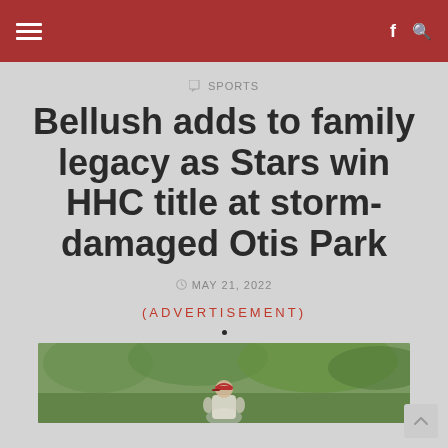SPORTS
Bellush adds to family legacy as Stars win HHC title at storm-damaged Otis Park
MAY 21, 2022
(ADVERTISEMENT)
[Figure (photo): A person wearing a red cap and white jacket, photographed outdoors in a green wooded area, appearing to be at a golf course or athletic venue.]